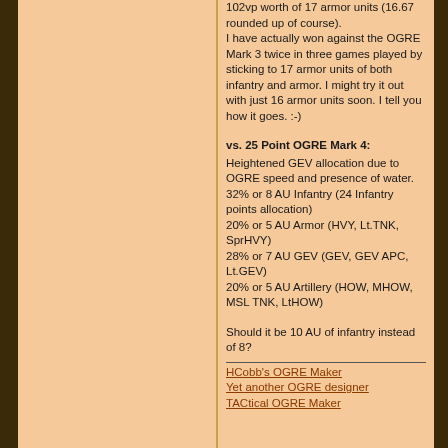102vp worth of 17 armor units (16.67 rounded up of course). I have actually won against the OGRE Mark 3 twice in three games played by sticking to 17 armor units of both infantry and armor. I might try it out with just 16 armor units soon. I tell you how it goes. :-)
vs. 25 Point OGRE Mark 4:
Heightened GEV allocation due to OGRE speed and presence of water.
32% or 8 AU Infantry (24 Infantry points allocation)
20% or 5 AU Armor (HVY, Lt.TNK, SprHVY)
28% or 7 AU GEV (GEV, GEV APC, Lt.GEV)
20% or 5 AU Artillery (HOW, MHOW, MSL TNK, LtHOW)
Should it be 10 AU of infantry instead of 8?
HCobb's OGRE Maker
Yet another OGRE designer
TACtical OGRE Maker